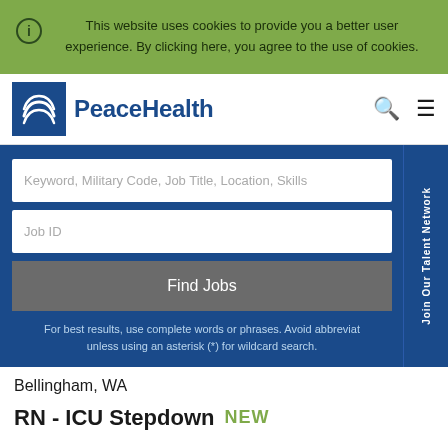This website uses cookies to provide you a better user experience. By clicking here, you agree to the use of cookies.
[Figure (logo): PeaceHealth logo with wave symbol in blue square and PeaceHealth text]
Keyword, Military Code, Job Title, Location, Skills
Job ID
Find Jobs
For best results, use complete words or phrases. Avoid abbreviat unless using an asterisk (*) for wildcard search.
Bellingham, WA
RN - ICU Stepdown NEW